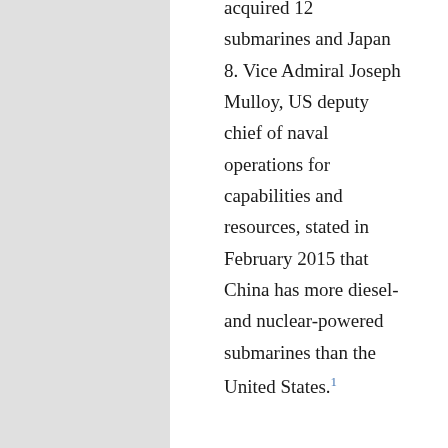acquired 12 submarines and Japan 8. Vice Admiral Joseph Mulloy, US deputy chief of naval operations for capabilities and resources, stated in February 2015 that China has more diesel- and nuclear-powered submarines than the United States.1
China's maritime expansion has been based on opportunistic responses to a vacuum or a shift in the military balance. For example, in the South China Sea, China occupied the Paracel Islands in